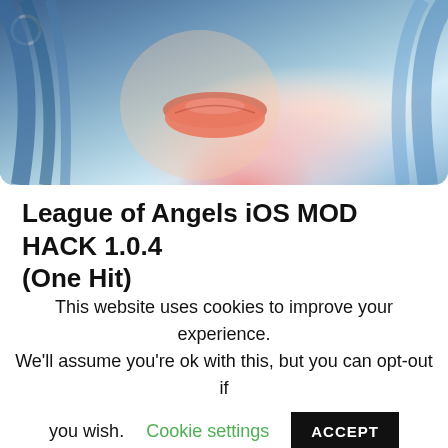[Figure (illustration): Stylized anime/fantasy female character with blue hair, red lips, against a blue gradient background. Yellow bar at top. Gray loading arc top-left.]
League of Angels iOS MOD HACK 1.0.4 (One Hit)
Download League of Angels iOS MOD Embark on your journey to become...
unlimited23
994
Resources
This website uses cookies to improve your experience. We'll assume you're ok with this, but you can opt-out if you wish.   Cookie settings   ACCEPT